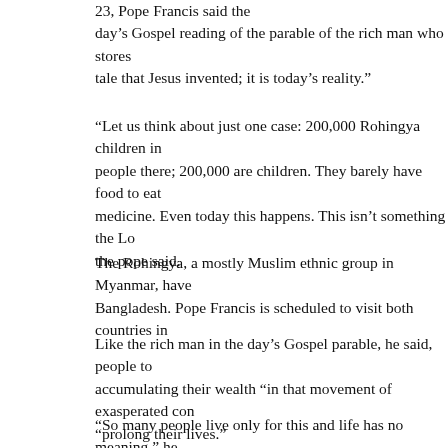23, Pope Francis said the day’s Gospel reading of the parable of the rich man who stores tale that Jesus invented; it is today’s reality.”
“Let us think about just one case: 200,000 Rohingya children in people there; 200,000 are children. They barely have food to eat medicine. Even today this happens. This isn’t something the Lo the pope said.
The Rohingya, a mostly Muslim ethnic group in Myanmar, have Bangladesh. Pope Francis is scheduled to visit both countries in
Like the rich man in the day’s Gospel parable, he said, people to accumulating their wealth “in that movement of exasperated con “prolong their lives.”
“So many people live only for this and life has no meaning,” he means to be rich in what matters to God.”